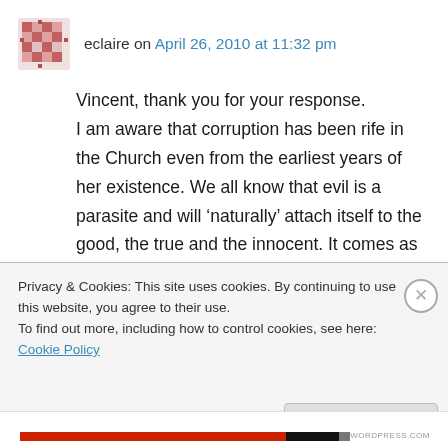eclaire on April 26, 2010 at 11:32 pm
Vincent, thank you for your response. I am aware that corruption has been rife in the Church even from the earliest years of her existence. We all know that evil is a parasite and will ‘naturally’ attach itself to the good, the true and the innocent. It comes as no surprise, therefore, that the Church (Christ’s bride) should have been especially targetted for she is all those things and very beautiful too.
Privacy & Cookies: This site uses cookies. By continuing to use this website, you agree to their use.
To find out more, including how to control cookies, see here: Cookie Policy
Close and accept